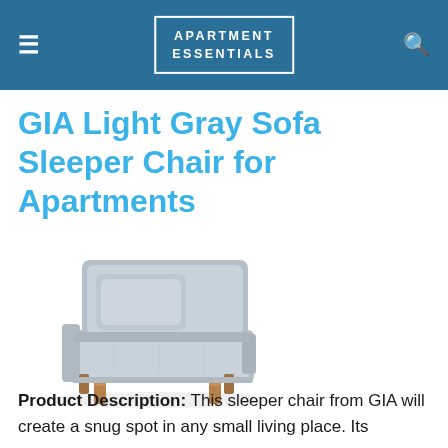APARTMENT ESSENTIALS
GIA Light Gray Sofa Sleeper Chair for Apartments
[Figure (photo): Light gray upholstered sofa sleeper chair with wood legs and a back pillow, shown on white background]
Product Description: This sleeper chair from GIA will create a snug spot in any small living place. Its